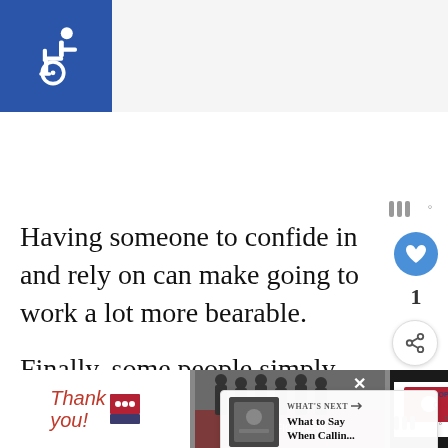[Figure (illustration): Blue square with white wheelchair accessibility icon (ISA symbol) in the top-left corner]
Having someone to confide in and rely on can make going to work a lot more bearable.
Finally, some people simply don't have the best relationships with their spouses, so th... close bonds with someone at work instead.
[Figure (infographic): WHAT'S NEXT panel with thumbnail image and text 'What to Say When Callin...']
[Figure (photo): Advertisement banner at bottom: 'Thank you!' with firefighters and Operation Gratitude logo on dark background]